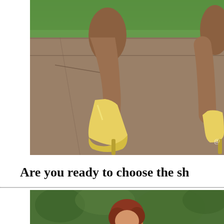[Figure (photo): Close-up photo of legs wearing yellow/gold pointed-toe high heel pumps, walking on a wooden deck/boardwalk with green grass visible in the background. A partial second shoe is visible at the right edge.]
Are you ready to choose the sh
[Figure (photo): Partial photo showing a person with reddish-brown hair against a green leafy background, cropped at bottom of page.]